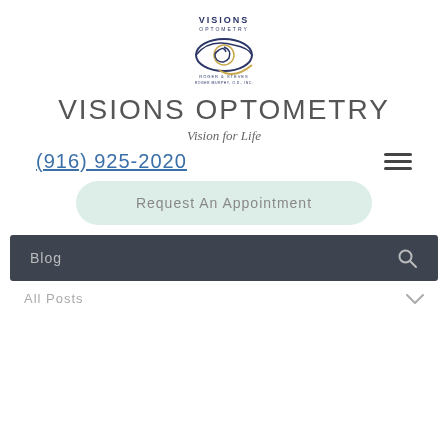[Figure (logo): Visions Optometry logo with stylized eye and spiral graphic, text 'VISIONS OPTOMETRY' and 'ROGER & STEVES / ROGER MURPHY, O.D., INC.']
VISIONS OPTOMETRY
Vision for Life
(916) 925-2020
Request An Appointment
Blog
All Posts